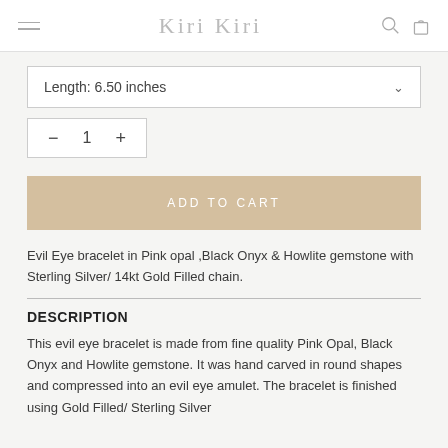Kiri Kiri
Length: 6.50 inches
— 1 +
ADD TO CART
Evil Eye bracelet in Pink opal ,Black Onyx & Howlite gemstone with Sterling Silver/ 14kt Gold Filled chain.
DESCRIPTION
This evil eye bracelet is made from fine quality Pink Opal, Black Onyx and Howlite gemstone. It was hand carved in round shapes and compressed into an evil eye amulet. The bracelet is finished using Gold Filled/ Sterling Silver